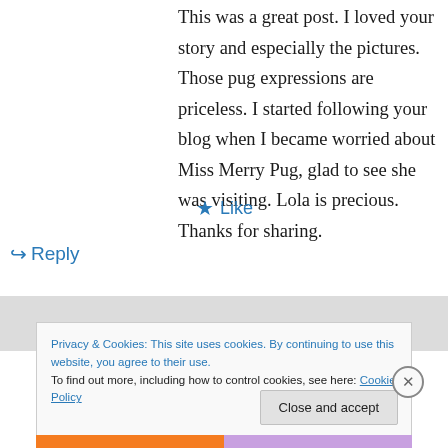This was a great post. I loved your story and especially the pictures. Those pug expressions are priceless. I started following your blog when I became worried about Miss Merry Pug, glad to see she was visiting. Lola is precious. Thanks for sharing.
★ Like
↪ Reply
Privacy & Cookies: This site uses cookies. By continuing to use this website, you agree to their use.
To find out more, including how to control cookies, see here: Cookie Policy
Close and accept